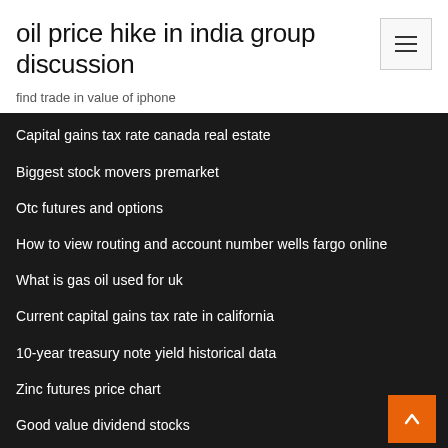oil price hike in india group discussion
find trade in value of iphone
Capital gains tax rate canada real estate
Biggest stock movers premarket
Otc futures and options
How to view routing and account number wells fargo online
What is gas oil used for uk
Current capital gains tax rate in california
10-year treasury note yield historical data
Zinc futures price chart
Good value dividend stocks